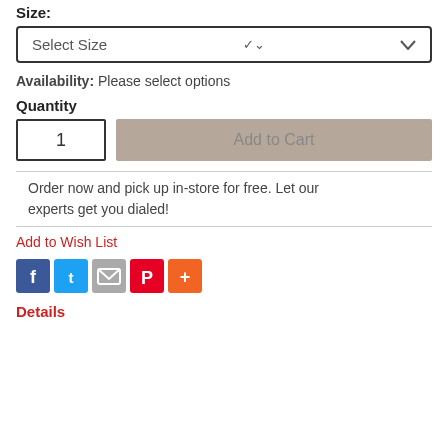Size:
Select Size
Availability: Please select options
Quantity
1
Add to Cart
Order now and pick up in-store for free. Let our experts get you dialed!
Add to Wish List
[Figure (infographic): Social share icons: Facebook (blue), Twitter (light blue), Email (grey), Pinterest (red), More (orange)]
Details